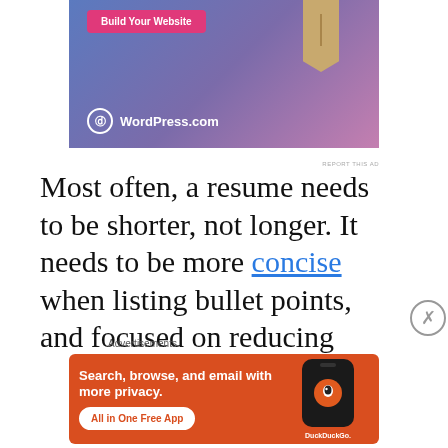[Figure (illustration): WordPress.com advertisement banner with blue-purple gradient background, 'Build Your Website' pink button, a price tag graphic, and WordPress logo with text 'WordPress.com']
REPORT THIS AD
Most often, a resume needs to be shorter, not longer. It needs to be more concise when listing bullet points, and focused on reducing
Advertisements
[Figure (illustration): DuckDuckGo advertisement on orange/red background with text 'Search, browse, and email with more privacy. All in One Free App' and a phone graphic with DuckDuckGo logo]